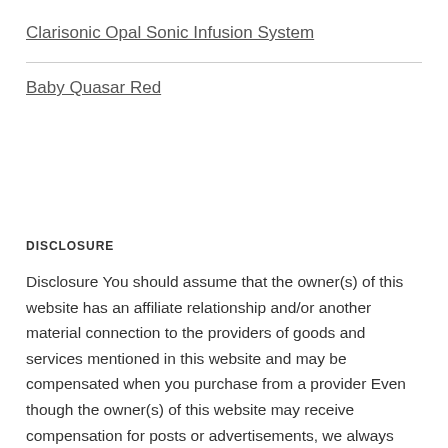Clarisonic Opal Sonic Infusion System
Baby Quasar Red
DISCLOSURE
Disclosure You should assume that the owner(s) of this website has an affiliate relationship and/or another material connection to the providers of goods and services mentioned in this website and may be compensated when you purchase from a provider Even though the owner(s) of this website may receive compensation for posts or advertisements, we always give our honest opinions, findings, beliefs, or experiences on those topics or products. The views and opinions expressed on this website